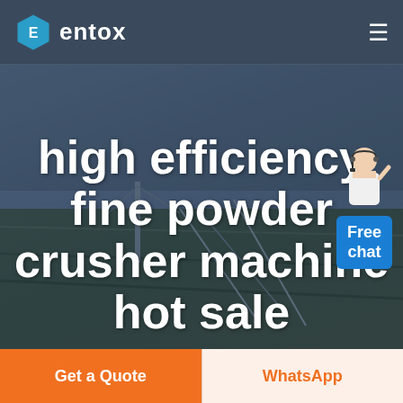[Figure (logo): Entox company logo with hexagon icon and brand name]
[Figure (screenshot): Website hero section with aerial industrial landscape background. Contains large white bold heading text and a Free chat widget in the top right.]
high efficiency fine powder crusher machine hot sale
Free chat
Get a Quote
WhatsApp